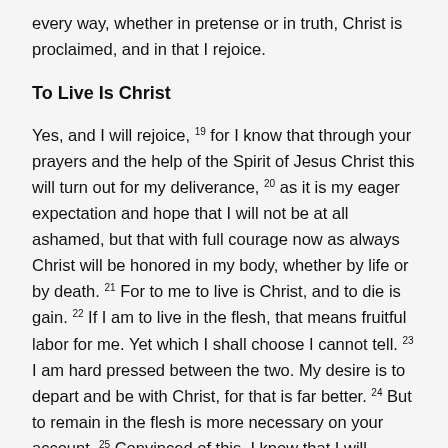every way, whether in pretense or in truth, Christ is proclaimed, and in that I rejoice.
To Live Is Christ
Yes, and I will rejoice, 19 for I know that through your prayers and the help of the Spirit of Jesus Christ this will turn out for my deliverance, 20 as it is my eager expectation and hope that I will not be at all ashamed, but that with full courage now as always Christ will be honored in my body, whether by life or by death. 21 For to me to live is Christ, and to die is gain. 22 If I am to live in the flesh, that means fruitful labor for me. Yet which I shall choose I cannot tell. 23 I am hard pressed between the two. My desire is to depart and be with Christ, for that is far better. 24 But to remain in the flesh is more necessary on your account. 25 Convinced of this, I know that I will remain and continue with you all, for your progress and joy in the faith, 26 so that in me you may have ample cause to glory in Christ Jesus, because of my coming to you again.